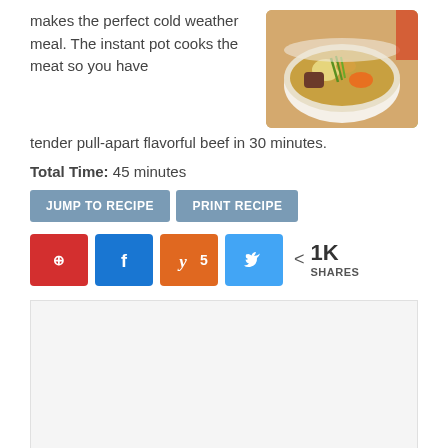makes the perfect cold weather meal. The instant pot cooks the meat so you have tender pull-apart flavorful beef in 30 minutes.
[Figure (photo): Photo of beef curry in a white bowl with potatoes, carrots, and green onions]
Total Time: 45 minutes
JUMP TO RECIPE | PRINT RECIPE
[Figure (infographic): Social share buttons: Pinterest, Facebook, Yummly (5), Twitter, and 1K SHARES]
This pressure cooker beef curry recipe is so
hearty, flavorful, filling and easy. It makes the cold weather meal. The instant